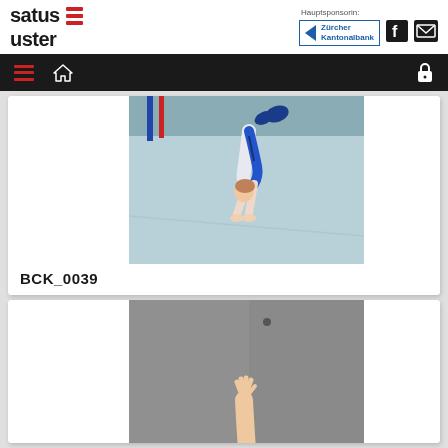[Figure (logo): Satus Uster logo with red horizontal bars]
Hauptsponsorin:
[Figure (logo): Zürcher Kantonalbank logo with blue arrow and text]
[Figure (logo): Facebook icon]
[Figure (logo): Email/envelope icon]
[Figure (photo): Gymnast performing a handstand/dive position on a light blue mat in a gymnasium, wearing a blue and white leotard]
BCK_0039
[Figure (photo): Gymnast with hand raised upward against a grey wall background]